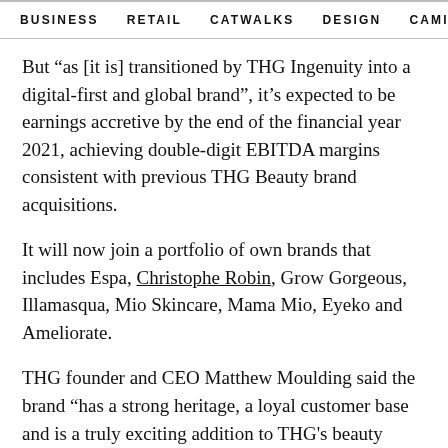BUSINESS   RETAIL   CATWALKS   DESIGN   CAMI  >
But “as [it is] transitioned by THG Ingenuity into a digital-first and global brand”, it’s expected to be earnings accretive by the end of the financial year 2021, achieving double-digit EBITDA margins consistent with previous THG Beauty brand acquisitions.
It will now join a portfolio of own brands that includes Espa, Christophe Robin, Grow Gorgeous, Illamasqua, Mio Skincare, Mama Mio, Eyeko and Ameliorate.
THG founder and CEO Matthew Moulding said the brand “has a strong heritage, a loyal customer base and is a truly exciting addition to THG's beauty portfolio. The online beauty and skincare sector is growing rapidly, and